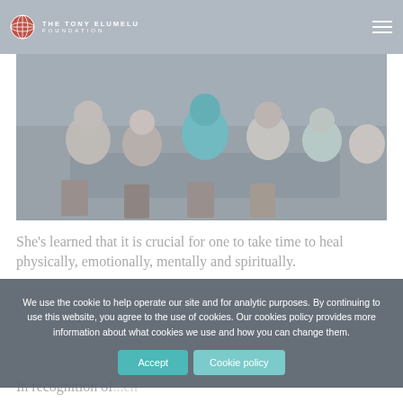The Tony Elumelu Foundation
[Figure (photo): Group of people seated around tables at an event or gathering, seen from behind/side angle]
She's learned that it is crucial for one to take time to heal physically, emotionally, mentally and spiritually.
We use the cookie to help operate our site and for analytic purposes. By continuing to use this website, you agree to the use of cookies. Our cookies policy provides more information about what cookies we use and how you can change them.
In recognition of...en